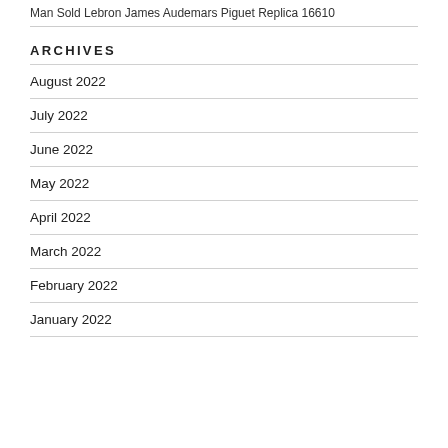Man Sold Lebron James Audemars Piguet Replica 16610
ARCHIVES
August 2022
July 2022
June 2022
May 2022
April 2022
March 2022
February 2022
January 2022